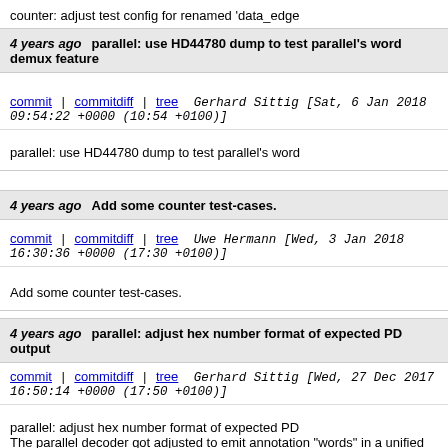counter: adjust test config for renamed 'data_edge
4 years ago   parallel: use HD44780 dump to test parallel's word demux feature
commit | commitdiff | tree   Gerhard Sittig [Sat, 6 Jan 2018 09:54:22 +0000 (10:54 +0100)]
parallel: use HD44780 dump to test parallel's word demux feature
4 years ago   Add some counter test-cases.
commit | commitdiff | tree   Uwe Hermann [Wed, 3 Jan 2018 16:30:36 +0000 (17:30 +0100)]
Add some counter test-cases.
4 years ago   parallel: adjust hex number format of expected PD output
commit | commitdiff | tree   Gerhard Sittig [Wed, 27 Dec 2017 16:50:14 +0000 (17:50 +0100)]
parallel: adjust hex number format of expected PD
The parallel decoder got adjusted to emit annotations "words" in a unified format (consistent width, leading